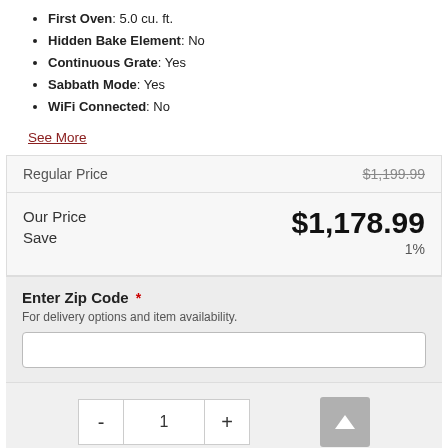First Oven: 5.0 cu. ft.
Hidden Bake Element: No
Continuous Grate: Yes
Sabbath Mode: Yes
WiFi Connected: No
See More
| Label | Value |
| --- | --- |
| Regular Price | $1,199.99 |
| Our Price | $1,178.99 |
| Save | 1% |
Enter Zip Code * For delivery options and item availability.
1